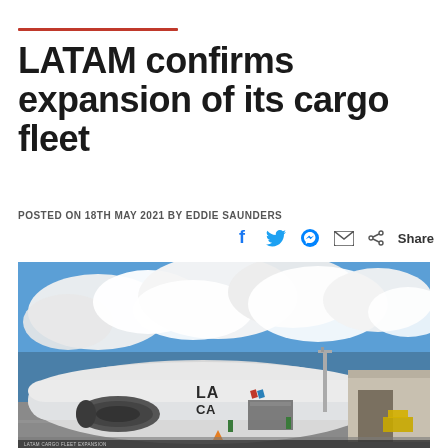LATAM confirms expansion of its cargo fleet
POSTED ON 18TH MAY 2021 BY EDDIE SAUNDERS
[Figure (photo): LATAM Cargo aircraft (wide-body freighter) parked at an airport apron with cargo being loaded, workers visible, dramatic cloudy blue sky above, airport building/hangar on right side.]